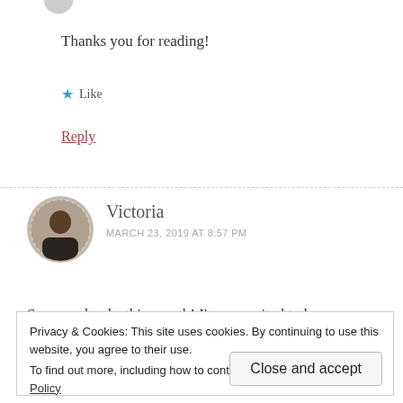Thanks you for reading!
★ Like
Reply
Victoria
MARCH 23, 2019 AT 8:57 PM
So many books this month! I'm so excited to hear your
Privacy & Cookies: This site uses cookies. By continuing to use this website, you agree to their use.
To find out more, including how to control cookies, see here: Cookie Policy
Close and accept